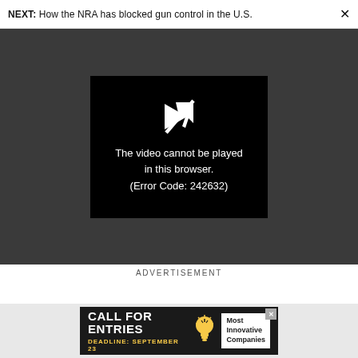NEXT: How the NRA has blocked gun control in the U.S.
[Figure (screenshot): Video player showing error message: 'The video cannot be played in this browser. (Error Code: 242632)' on a black background within a dark gray video player area.]
ADVERTISEMENT
[Figure (screenshot): Advertisement banner: 'CALL FOR ENTRIES DEADLINE: SEPTEMBER 23' with a light bulb icon and 'Most Innovative Companies' text on dark background.]